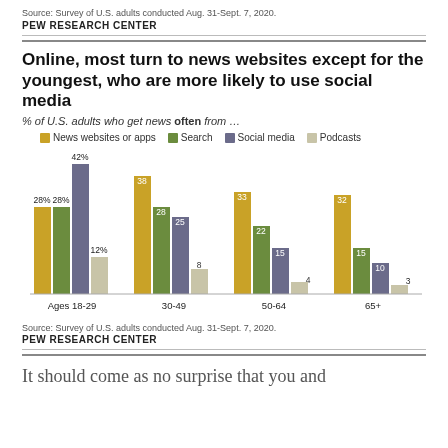Source: Survey of U.S. adults conducted Aug. 31-Sept. 7, 2020.
PEW RESEARCH CENTER
Online, most turn to news websites except for the youngest, who are more likely to use social media
% of U.S. adults who get news often from …
[Figure (grouped-bar-chart): % of U.S. adults who get news often from ...]
Source: Survey of U.S. adults conducted Aug. 31-Sept. 7, 2020.
PEW RESEARCH CENTER
It should come as no surprise that you and